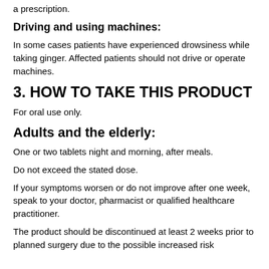a prescription.
Driving and using machines:
In some cases patients have experienced drowsiness while taking ginger. Affected patients should not drive or operate machines.
3. HOW TO TAKE THIS PRODUCT
For oral use only.
Adults and the elderly:
One or two tablets night and morning, after meals.
Do not exceed the stated dose.
If your symptoms worsen or do not improve after one week, speak to your doctor, pharmacist or qualified healthcare practitioner.
The product should be discontinued at least 2 weeks prior to planned surgery due to the possible increased risk